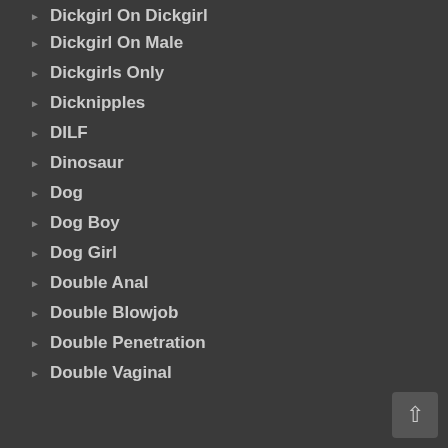Dickgirl On Dickgirl
Dickgirl On Male
Dickgirls Only
Dicknipples
DILF
Dinosaur
Dog
Dog Boy
Dog Girl
Double Anal
Double Blowjob
Double Penetration
Double Vaginal